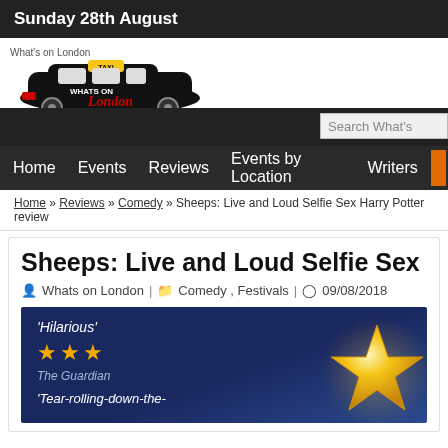Sunday 28th August
[Figure (logo): Whats on London black taxi cab logo with 'WHATS ON London' text]
Search What's
Home  Events  Reviews  Events by Location  Writers
Home » Reviews » Comedy » Sheeps: Live and Loud Selfie Sex Harry Potter review
Sheeps: Live and Loud Selfie Sex Ha
Whats on London  |  Comedy, Festivals  |  09/08/2018
[Figure (photo): Dark blue promotional image with 'Hilarious' quote, three gold stars, The Guardian credit, and 'Tear-rolling-down-the-' text, with a large glowing gold star on the right]